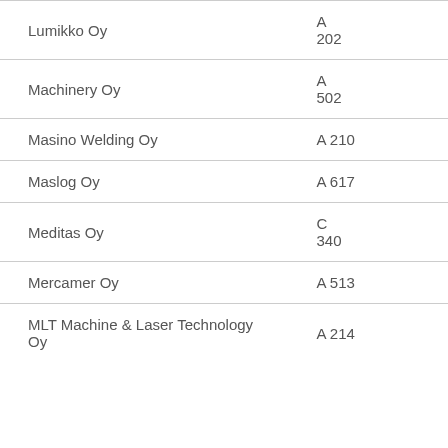| Company | Code |
| --- | --- |
| Lumikko Oy | A
202 |
| Machinery Oy | A
502 |
| Masino Welding Oy | A 210 |
| Maslog Oy | A 617 |
| Meditas Oy | C
340 |
| Mercamer Oy | A 513 |
| MLT Machine & Laser Technology Oy | A 214 |